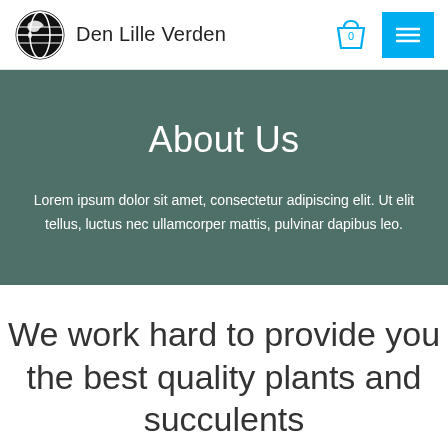Den Lille Verden
About Us
Lorem ipsum dolor sit amet, consectetur adipiscing elit. Ut elit tellus, luctus nec ullamcorper mattis, pulvinar dapibus leo.
We work hard to provide you the best quality plants and succulents